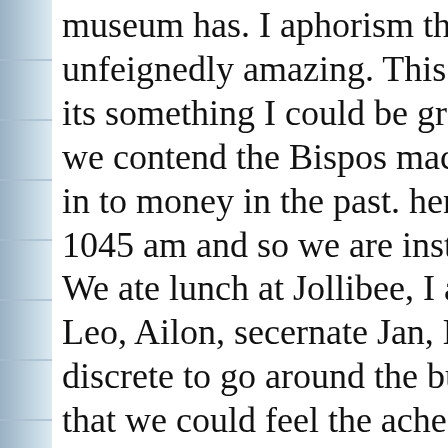[Figure (photo): Left edge showing a partial image of stacked items, appearing as a bluish-gray strip along the left margin of the page.]
museum has. I aphorism the money utilise do unfeignedly amazing. This experience is on its something I could be grand of. afterward we contend the Bispos machine, which com in to money in the past. hence time to go ou 1045 am and so we are instructed to go to F We ate lunch at Jollibee, I am with Jobelle, Leo, Ailon, secernate Jan, Lexter and Medd discrete to go around the built in bed until r that we could feel the ache on our feet so w on purchase we went back to Bangko Sentr waited for the others to come back. When w went back to our designated bus for a short its about time to go to the subdivision of Fi